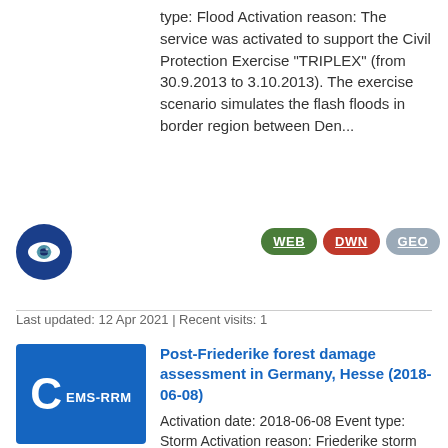type: Flood Activation reason: The service was activated to support the Civil Protection Exercise "TRIPLEX" (from 30.9.2013 to 3.10.2013). The exercise scenario simulates the flash floods in border region between Den...
[Figure (logo): Blue circular icon with an eye symbol (EMS-RRM service logo)]
[Figure (infographic): Three badge buttons: WEB (green), DWN (red), GEO (light blue/grey)]
Last updated: 12 Apr 2021 | Recent visits: 1
[Figure (logo): Blue rectangle badge with large letter C and text EMS-RRM]
Post-Friederike forest damage assessment in Germany, Hesse (2018-06-08)
Activation date: 2018-06-08 Event type: Storm Activation reason: Friederike storm hit several countries across Western Europe in